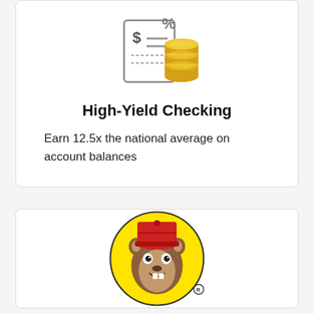[Figure (illustration): Icon showing a document with dollar sign and percentage symbol, with stacked gold coins beside it]
High-Yield Checking
Earn 12.5x the national average on account balances
[Figure (logo): Buc-ee's mascot logo: a cartoon beaver wearing a red cap on a yellow circle background with registered trademark symbol]